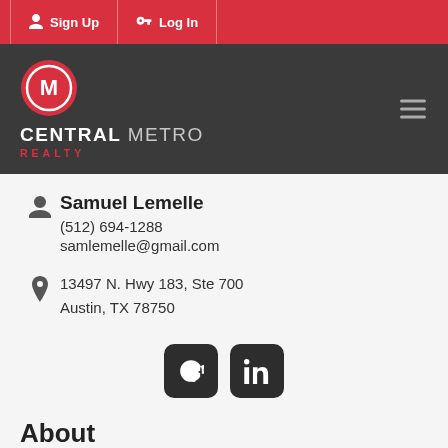Sign Up  Log In
[Figure (logo): Central Metro Realty logo with circular CM emblem, white on red, with text CENTRAL METRO REALTY on dark background]
Samuel Lemelle
(512) 694-1288
samlemelle@gmail.com
13497 N. Hwy 183, Ste 700
Austin, TX 78750
[Figure (other): Facebook and LinkedIn social media icons, dark rounded square buttons]
About
Home